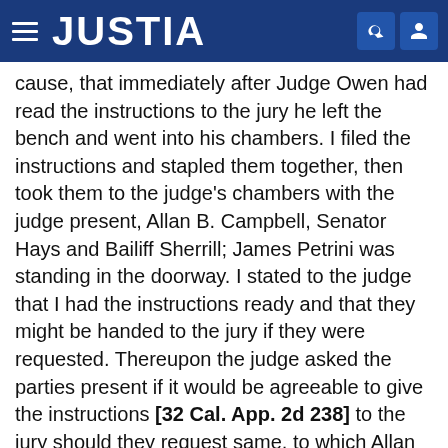JUSTIA
cause, that immediately after Judge Owen had read the instructions to the jury he left the bench and went into his chambers. I filed the instructions and stapled them together, then took them to the judge's chambers with the judge present, Allan B. Campbell, Senator Hays and Bailiff Sherrill; James Petrini was standing in the doorway. I stated to the judge that I had the instructions ready and that they might be handed to the jury if they were requested. Thereupon the judge asked the parties present if it would be agreeable to give the instructions [32 Cal. App. 2d 238] to the jury should they request same, to which Allan B. Campbell replied it would be agreeable to him as attorney for plaintiffs, and Senator Hays stated that whatever was the custom in Kern County courts would be agreeable with him, as attorney for Shell Oil Company and Kelly. James Petrini being in the doorway, made no remark or objection to the